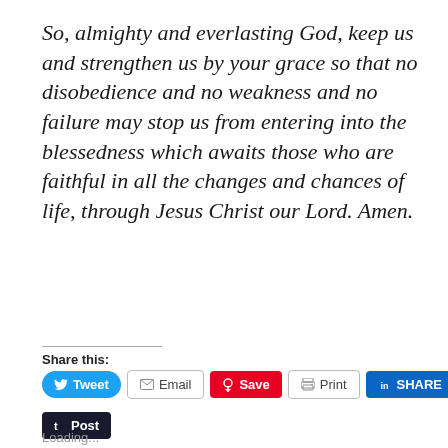So, almighty and everlasting God, keep us and strengthen us by your grace so that no disobedience and no weakness and no failure may stop us from entering into the blessedness which awaits those who are faithful in all the changes and chances of life, through Jesus Christ our Lord. Amen.
Share this:
Tweet | Email | Save | Print | SHARE | Post
Loading...